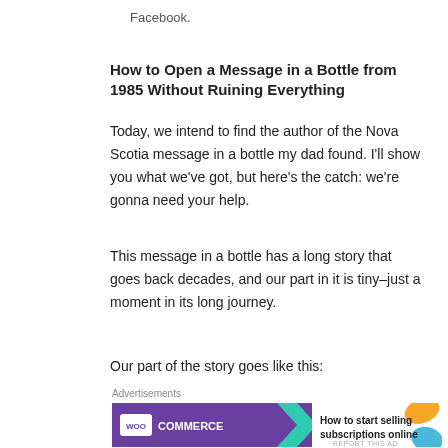Facebook.
How to Open a Message in a Bottle from 1985 Without Ruining Everything
Today, we intend to find the author of the Nova Scotia message in a bottle my dad found. I'll show you what we've got, but here's the catch: we're gonna need your help.
This message in a bottle has a long story that goes back decades, and our part in it is tiny–just a moment in its long journey.
Our part of the story goes like this:
Advertisements
[Figure (other): WooCommerce advertisement banner: purple background with WooCommerce logo and text 'How to start selling subscriptions online', with colorful leaf/petal shapes on the right]